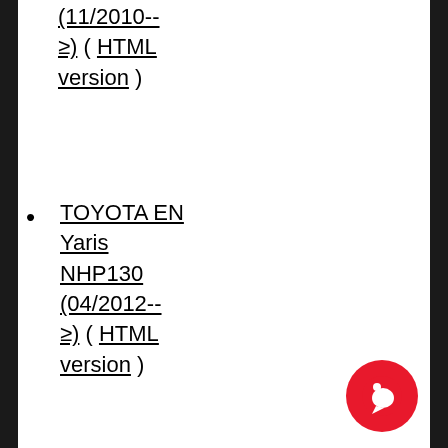(11/2010-- ≥) ( HTML version )
TOYOTA EN Yaris NHP130 (04/2012-- ≥) ( HTML version )
TOYOTA EN Yaris NSP130 NSP131 NLP130 KSP130 (06/2011-- ≥) ( HTML version )